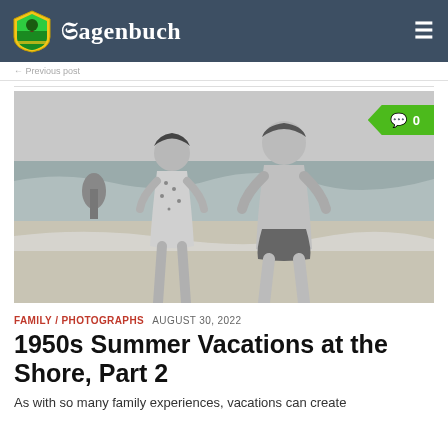Hagenbuch
[Figure (photo): Black and white photograph of two children standing on a beach. A girl in a floral swimsuit and a boy in swim trunks, both with hands on hips, with ocean waves in the background.]
FAMILY / PHOTOGRAPHS  AUGUST 30, 2022
1950s Summer Vacations at the Shore, Part 2
As with so many family experiences, vacations can create